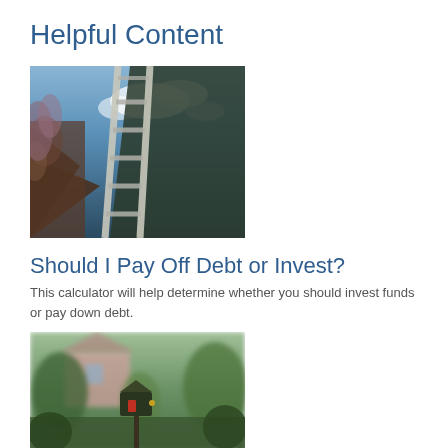Helpful Content
[Figure (photo): Low-angle view of a ladder or stairs rising toward a cloudy blue sky, with overgrown hillside vegetation on the left and a dark slope on the right.]
Should I Pay Off Debt or Invest?
This calculator will help determine whether you should invest funds or pay down debt.
[Figure (photo): A blurred residential neighborhood scene with green trees and shrubbery, a pink house in the background, and a decorative mailbox or birdhouse in the foreground.]